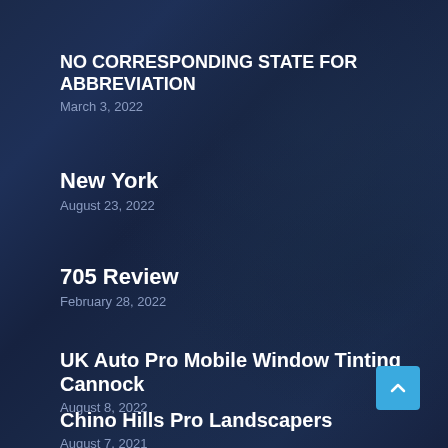NO CORRESPONDING STATE FOR ABBREVIATION
March 3, 2022
New York
August 23, 2022
705 Review
February 28, 2022
UK Auto Pro Mobile Window Tinting Cannock
August 8, 2022
Chino Hills Pro Landscapers
August 7, 2021